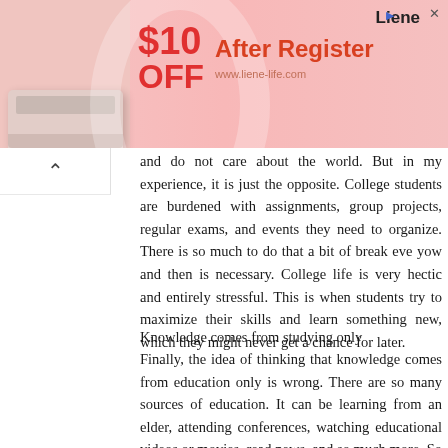[Figure (other): Advertisement banner for Liene brand showing a product (drawer/storage unit) with '$10 OFF After Register' promotion and website www.liene-life.com]
and do not care about the world. But in my experience, it is just the opposite. College students are burdened with assignments, group projects, regular exams, and events they need to organize. There is so much to do that a bit of break eve yow and then is necessary. College life is very hectic and entirely stressful. This is when students try to maximize their skills and learn something new, which they might never get a chance for later.
Knowledge comes from studying only
Finally, the idea of thinking that knowledge comes from education only is wrong. There are so many sources of education. It can be learning from an elder, attending conferences, watching educational videos or movies, read news, and so much more. So often categorize a student who gets poor marks as a fool, but they can be more intelligent about material facts. Hence, do not limit yourself to thinking that books are the only and sole source of learning.
These were ht common myths that needed to be debunked.